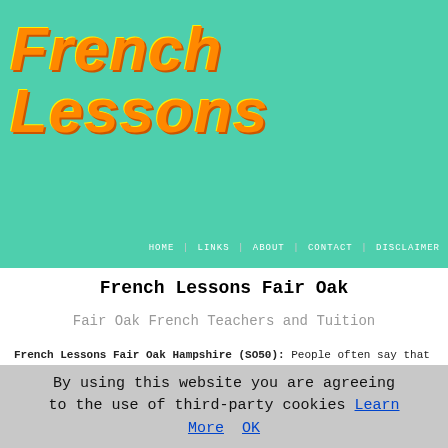FRENCH LESSONS
HOME | LINKS | ABOUT | CONTACT | DISCLAIMER
French Lessons Fair Oak
Fair Oak French Teachers and Tuition
French Lessons Fair Oak Hampshire (SO50): People often say that French is a hard language to learn, but if you go about it in the right way, it doesn't have to be so difficult. The truth is that we all have the capacity to learn new languages. To accomplish this, you only have to find the way of learning that is right for you. You must take into consideration that everyone picks up languages in their own unique manner. Everyone has to learn at their own pace; some naturally absorb the grammar and usage rules of a language very quickly while others have to work at it a little longer. No matter what you own learning style is,
By using this website you are agreeing to the use of third-party cookies Learn More  OK